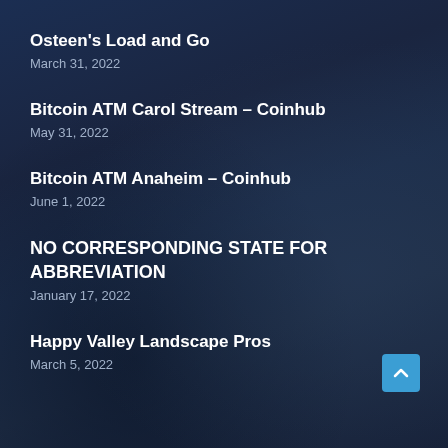Osteen's Load and Go
March 31, 2022
Bitcoin ATM Carol Stream – Coinhub
May 31, 2022
Bitcoin ATM Anaheim – Coinhub
June 1, 2022
NO CORRESPONDING STATE FOR ABBREVIATION
January 17, 2022
Happy Valley Landscape Pros
March 5, 2022